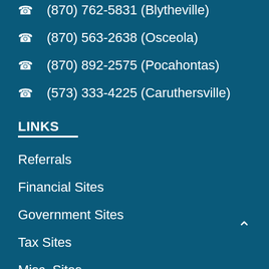(870) 762-5831 (Blytheville)
(870) 563-2638 (Osceola)
(870) 892-2575 (Pocahontas)
(573) 333-4225 (Caruthersville)
LINKS
Referrals
Financial Sites
Government Sites
Tax Sites
Misc. Sites